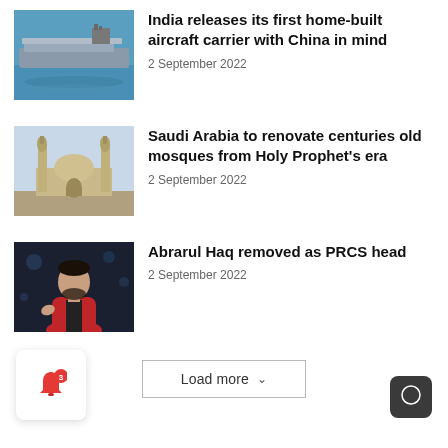[Figure (photo): Aircraft carrier ship on water, aerial view]
India releases its first home-built aircraft carrier with China in mind
2 September 2022
[Figure (photo): Mosque with minarets against sky]
Saudi Arabia to renovate centuries old mosques from Holy Prophet's era
2 September 2022
[Figure (photo): Man in red jacket on stage with lights in background]
Abrarul Haq removed as PRCS head
2 September 2022
Load more